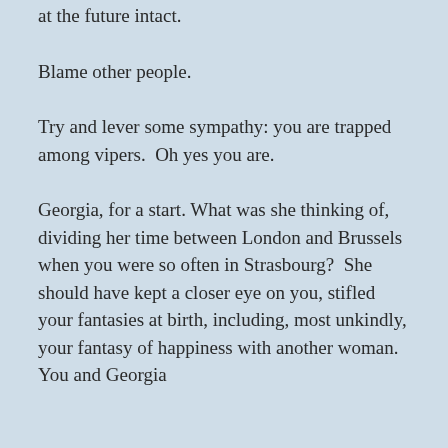at the future intact.
Blame other people.
Try and lever some sympathy: you are trapped among vipers.  Oh yes you are.
Georgia, for a start. What was she thinking of, dividing her time between London and Brussels when you were so often in Strasbourg?  She should have kept a closer eye on you, stifled your fantasies at birth, including, most unkindly, your fantasy of happiness with another woman.  You and Georgia